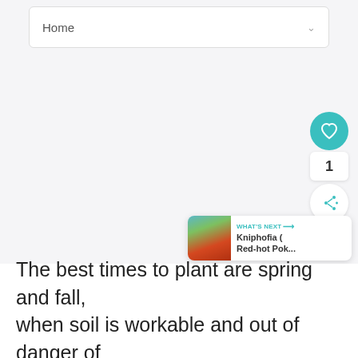Home
[Figure (screenshot): Large empty light grey content area of a web page]
[Figure (infographic): Floating UI elements: teal heart button, count '1', white share button with plus icon]
[Figure (infographic): What's Next card showing Kniphofia (Red-hot Pok...) with a thumbnail of red-hot poker flowers]
The best times to plant are spring and fall, when soil is workable and out of danger of